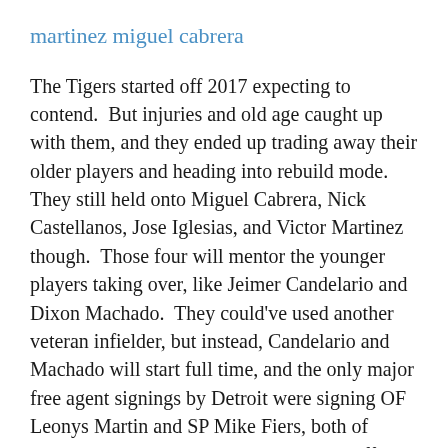martinez miguel cabrera
The Tigers started off 2017 expecting to contend.  But injuries and old age caught up with them, and they ended up trading away their older players and heading into rebuild mode.  They still held onto Miguel Cabrera, Nick Castellanos, Jose Iglesias, and Victor Martinez though.  Those four will mentor the younger players taking over, like Jeimer Candelario and Dixon Machado.  They could've used another veteran infielder, but instead, Candelario and Machado will start full time, and the only major free agent signings by Detroit were signing OF Leonys Martin and SP Mike Fiers, both of which they got done much earlier in the off-season than most of the free agent signings around